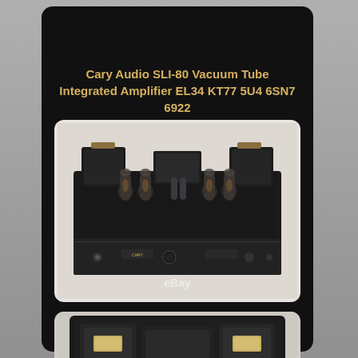TUBE INTEGRATED AMPLIFIER
Cary Audio SLI-80 Vacuum Tube Integrated Amplifier EL34 KT77 5U4 6SN7 6922
[Figure (photo): Front view of Cary Audio SLI-80 vacuum tube integrated amplifier showing vacuum tubes on top and front panel controls, with eBay watermark]
[Figure (photo): Top-down view of Cary Audio SLI-80 vacuum tube integrated amplifier showing transformers and vacuum tubes from above]